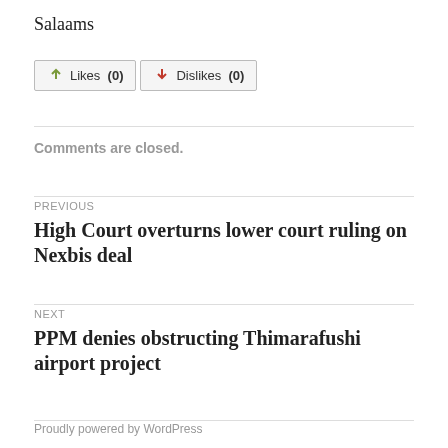Salaams
[Figure (other): Likes (0) and Dislikes (0) buttons with thumbs up and thumbs down icons]
Comments are closed.
PREVIOUS
High Court overturns lower court ruling on Nexbis deal
NEXT
PPM denies obstructing Thimarafushi airport project
Proudly powered by WordPress